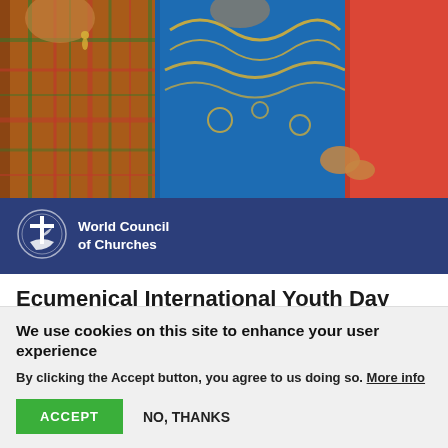[Figure (photo): People wearing colorful traditional indigenous clothing, photographed from the side/back. Vivid reds, blues, plaids, and gold embroidery visible on their garments.]
[Figure (logo): World Council of Churches logo: circular emblem with cross and boat/dove symbol, white on dark navy background, next to bold white text 'World Council of Churches']
Ecumenical International Youth Day 2022 Event Toolkit
Indigenous Youth and Land Rights Activism
The theme for the fourth International Youth Day
We use cookies on this site to enhance your user experience
By clicking the Accept button, you agree to us doing so. More info
ACCEPT
NO, THANKS